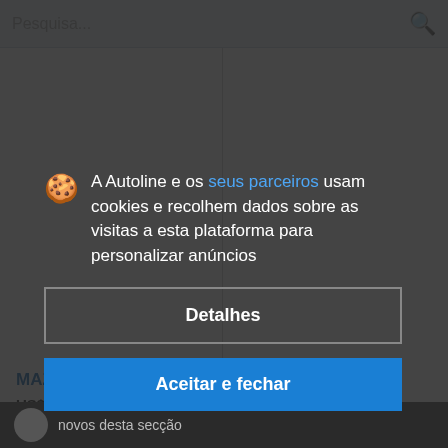Pesquisa...
[Figure (screenshot): Split product listing page with two image panels side by side separated by a vertical divider line]
MAZ-6317
US$ 52.000  EUR
A Autoline e os seus parceiros usam cookies e recolhem dados sobre as visitas a esta plataforma para personalizar anúncios
Detalhes
Aceitar e fechar
novos desta secção